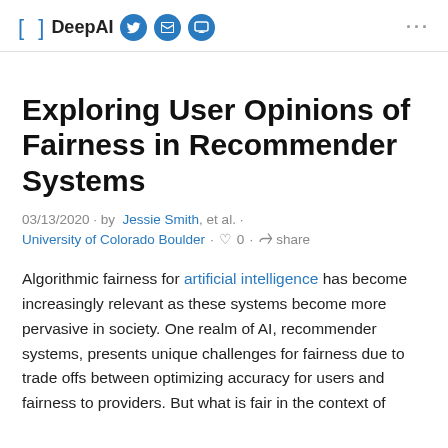[ ] DeepAI [Twitter] [LinkedIn] [Chat] ...
Exploring User Opinions of Fairness in Recommender Systems
03/13/2020 · by  Jessie Smith, et al. ·
University of Colorado Boulder · ♡ 0 · share
Algorithmic fairness for artificial intelligence has become increasingly relevant as these systems become more pervasive in society. One realm of AI, recommender systems, presents unique challenges for fairness due to trade offs between optimizing accuracy for users and fairness to providers. But what is fair in the context of